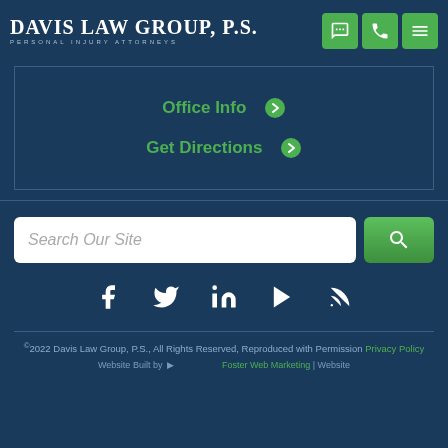Davis Law Group, P.S. Personal Injury Attorneys
Office Info ➔
Get Directions ➔
[Figure (screenshot): Search bar with text 'Search Our Site' and green search button]
[Figure (infographic): Social media icons: Facebook, Twitter, LinkedIn, YouTube, RSS feed]
©2022 Davis Law Group, P.S., All Rights Reserved, Reproduced with Permission Privacy Policy
Website Built by ... Foster Web Marketing | Website